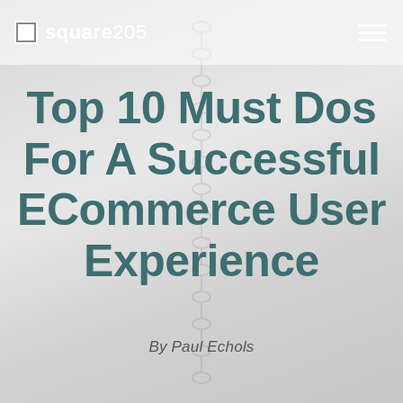square205
Top 10 Must Dos For A Successful ECommerce User Experience
By Paul Echols